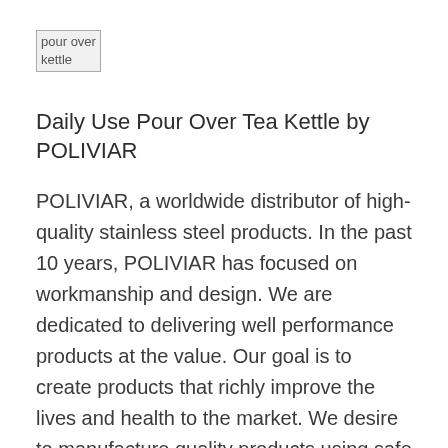[Figure (photo): pour over kettle product image placeholder]
Daily Use Pour Over Tea Kettle by POLIVIAR
POLIVIAR, a worldwide distributor of high-quality stainless steel products. In the past 10 years, POLIVIAR has focused on workmanship and design. We are dedicated to delivering well performance products at the value. Our goal is to create products that richly improve the lives and health to the market. We desire to manufacture quality products using safe materials.
32 ozStone style finishElegant goosenect